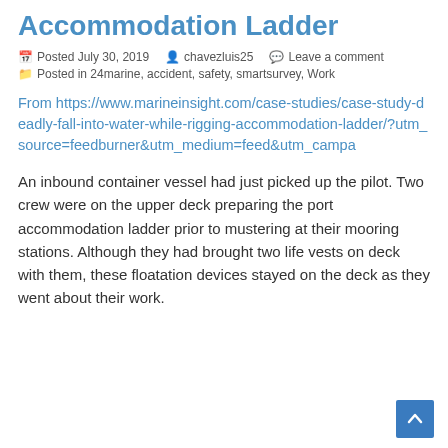Accommodation Ladder
Posted July 30, 2019  chavezluis25  Leave a comment
Posted in 24marine, accident, safety, smartsurvey, Work
From https://www.marineinsight.com/case-studies/case-study-deadly-fall-into-water-while-rigging-accommodation-ladder/?utm_source=feedburner&utm_medium=feed&utm_campa
An inbound container vessel had just picked up the pilot. Two crew were on the upper deck preparing the port accommodation ladder prior to mustering at their mooring stations. Although they had brought two life vests on deck with them, these floatation devices stayed on the deck as they went about their work.